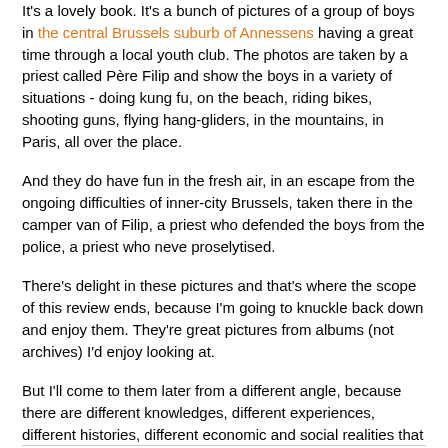It's a lovely book. It's a bunch of pictures of a group of boys in the central Brussels suburb of Annessens having a great time through a local youth club. The photos are taken by a priest called Père Filip and show the boys in a variety of situations - doing kung fu, on the beach, riding bikes, shooting guns, flying hang-gliders, in the mountains, in Paris, all over the place.
And they do have fun in the fresh air, in an escape from the ongoing difficulties of inner-city Brussels, taken there in the camper van of Filip, a priest who defended the boys from the police, a priest who neve proselytised.
There's delight in these pictures and that's where the scope of this review ends, because I'm going to knuckle back down and enjoy them. They're great pictures from albums (not archives) I'd enjoy looking at.
But I'll come to them later from a different angle, because there are different knowledges, different experiences, different histories, different economic and social realities that kick in; and the more one is aware of the that, the better the stories become.